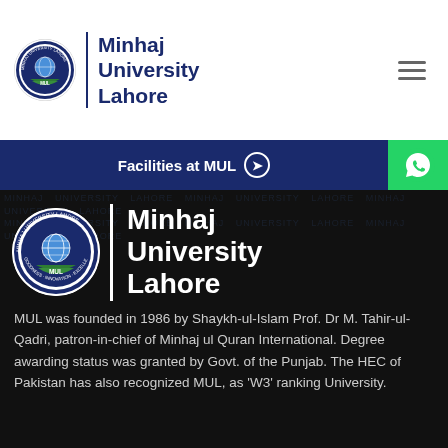[Figure (logo): Minhaj University Lahore header logo with circular seal and university name in dark blue]
Minhaj University Lahore
Facilities at MUL →
[Figure (logo): Minhaj University Lahore large logo on dark background with circular seal and white text]
MUL was founded in 1986 by Shaykh-ul-Islam Prof. Dr M. Tahir-ul-Qadri, patron-in-chief of Minhaj ul Quran International. Degree awarding status was granted by Govt. of the Punjab. The HEC of Pakistan has also recognized MUL, as 'W3' ranking University.